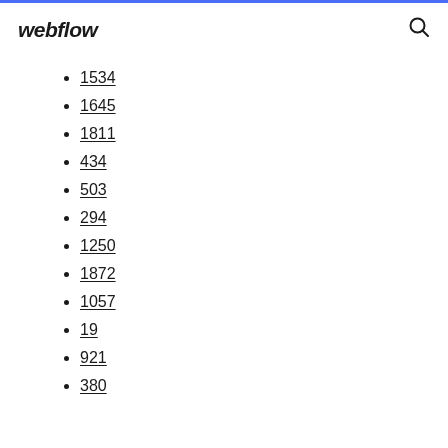webflow
1534
1645
1811
434
503
294
1250
1872
1057
19
921
380